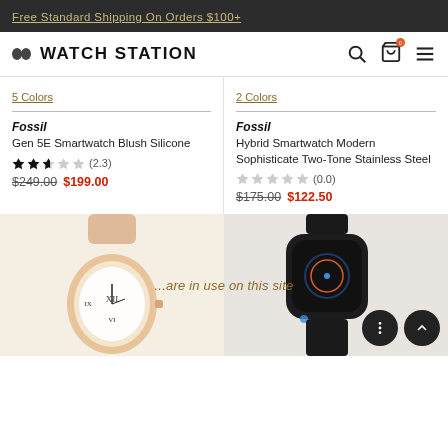Free Standard Shipping On Orders $100+
WATCH STATION
5 Colors
Fossil
Gen 5E Smartwatch Blush Silicone
(2.3)
$249.00 $199.00
2 Colors
Fossil
Hybrid Smartwatch Modern Sophisticate Two-Tone Stainless Steel
(0.0)
$175.00 $122.50
[Figure (photo): Rose gold analog watch with leather strap, partially visible in bottom left section]
...are in use on this site
[Figure (photo): Black smartwatch with black silicone band, partially visible in bottom right section]